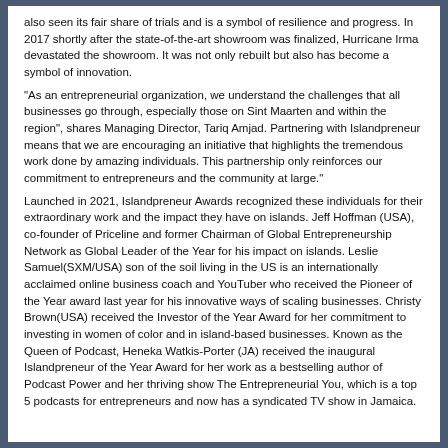also seen its fair share of trials and is a symbol of resilience and progress. In 2017 shortly after the state-of-the-art showroom was finalized, Hurricane Irma devastated the showroom. It was not only rebuilt but also has become a symbol of innovation.
“As an entrepreneurial organization, we understand the challenges that all businesses go through, especially those on Sint Maarten and within the region”, shares Managing Director, Tariq Amjad. Partnering with Islandpreneur means that we are encouraging an initiative that highlights the tremendous work done by amazing individuals. This partnership only reinforces our commitment to entrepreneurs and the community at large.”
Launched in 2021, Islandpreneur Awards recognized these individuals for their extraordinary work and the impact they have on islands. Jeff Hoffman (USA), co-founder of Priceline and former Chairman of Global Entrepreneurship Network as Global Leader of the Year for his impact on islands. Leslie Samuel(SXM/USA) son of the soil living in the US is an internationally acclaimed online business coach and YouTuber who received the Pioneer of the Year award last year for his innovative ways of scaling businesses. Christy Brown(USA) received the Investor of the Year Award for her commitment to investing in women of color and in island-based businesses. Known as the Queen of Podcast, Heneka Watkis-Porter (JA) received the inaugural Islandpreneur of the Year Award for her work as a bestselling author of Podcast Power and her thriving show The Entrepreneurial You, which is a top 5 podcasts for entrepreneurs and now has a syndicated TV show in Jamaica.